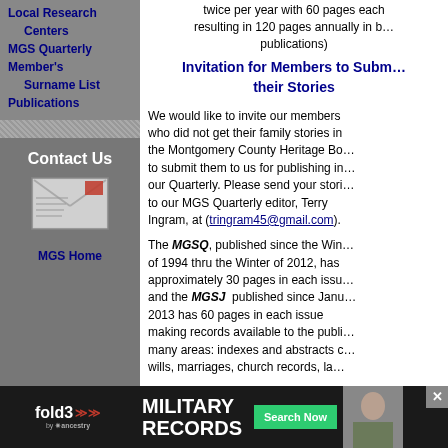Local Research Centers
MGS Quarterly
Member's Surname List
Publications
Contact Us
[Figure (illustration): Mail/envelope icon]
MGS Home
twice per year with 60 pages each resulting in 120 pages annually in b… publications)
Invitation for Members to Submit their Stories
We would like to invite our members who did not get their family stories in the Montgomery County Heritage Bo… to submit them to us for publishing in our Quarterly. Please send your stori… to our MGS Quarterly editor, Terry Ingram, at (tringram45@gmail.com).
The MGSQ, published since the Win… of 1994 thru the Winter of 2012, has approximately 30 pages in each issu… and the MGSJ published since Janu… 2013 has 60 pages in each issue making records available to the publi… many areas: indexes and abstracts c… wills, marriages, church records, la… ions of "lo… / migratio… y records…
[Figure (infographic): Fold3 military records advertisement banner with Search Now button and soldier photo]